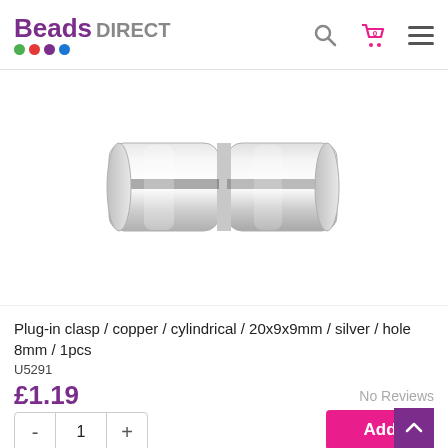[Figure (logo): Beads Direct logo with colored dots]
[Figure (photo): Silver cylindrical plug-in clasp, two-piece barrel clasp, silver color, 20x9x9mm]
Plug-in clasp / copper / cylindrical / 20x9x9mm / silver / hole 8mm / 1pcs
U5291
£1.19
No Reviews